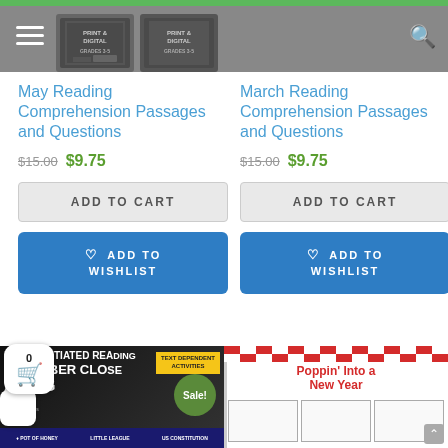[Figure (screenshot): Website header with hamburger menu, logo images for Print & Digital Grades 3-5, and search icon on grey background with green top bar]
May Reading Comprehension Passages and Questions
$15.00 $9.75
ADD TO CART
ADD TO WISHLIST
March Reading Comprehension Passages and Questions
$15.00 $9.75
ADD TO CART
ADD TO WISHLIST
[Figure (screenshot): Product thumbnail: Differentiated Reading September Close Reading with Sale! badge]
[Figure (screenshot): Product thumbnail: Poppin' Into a New Year with red and white checker border]